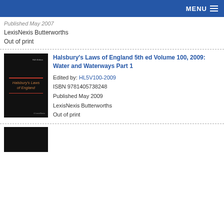MENU
Published May 2007
LexisNexis Butterworths
Out of print
[Figure (photo): Book cover of Halsbury's Laws of England 5th edition, dark background with red lines and gold italic title text]
Halsbury's Laws of England 5th ed Volume 100, 2009: Water and Waterways Part 1
Edited by: HL5V100-2009
ISBN 9781405738248
Published May 2009
LexisNexis Butterworths
Out of print
[Figure (photo): Partial book cover visible at bottom of page, dark background]